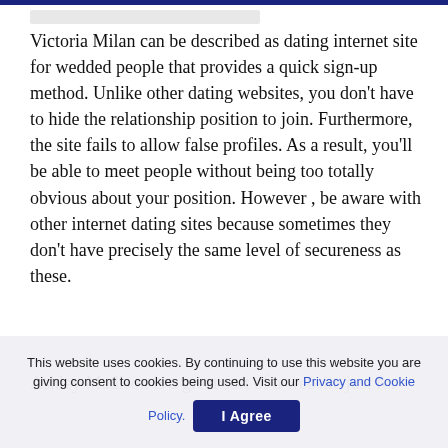Victoria Milan can be described as dating internet site for wedded people that provides a quick sign-up method. Unlike other dating websites, you don’t have to hide the relationship position to join. Furthermore, the site fails to allow false profiles. As a result, you’ll be able to meet people without being too totally obvious about your position. However , be aware with other internet dating sites because sometimes they don’t have precisely the same level of secureness as these.
Ashley Madison is a great sort of a website just for
This website uses cookies. By continuing to use this website you are giving consent to cookies being used. Visit our Privacy and Cookie Policy.